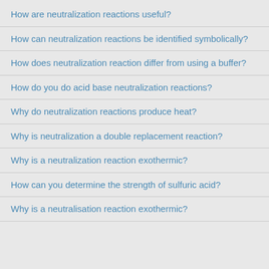How are neutralization reactions useful?
How can neutralization reactions be identified symbolically?
How does neutralization reaction differ from using a buffer?
How do you do acid base neutralization reactions?
Why do neutralization reactions produce heat?
Why is neutralization a double replacement reaction?
Why is a neutralization reaction exothermic?
How can you determine the strength of sulfuric acid?
Why is a neutralisation reaction exothermic?